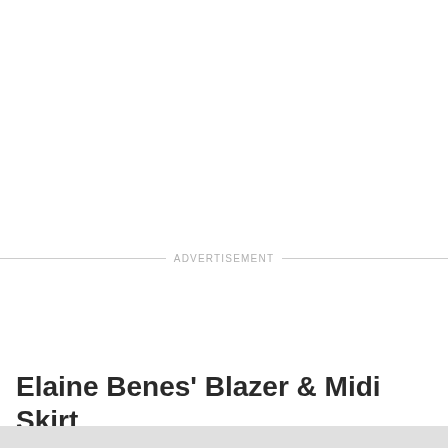ADVERTISEMENT
Elaine Benes' Blazer & Midi Skirt